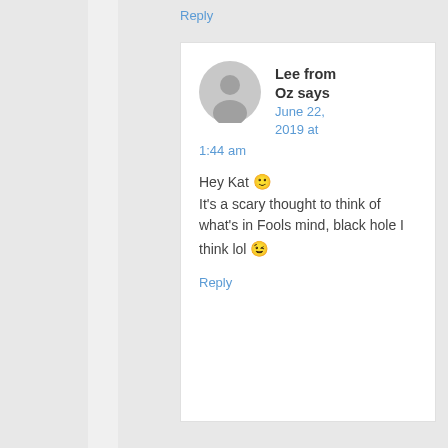Reply
Lee from Oz says June 22, 2019 at 1:44 am
Hey Kat 🙂 It’s a scary thought to think of what’s in Fools mind, black hole I think lol 😉
Reply